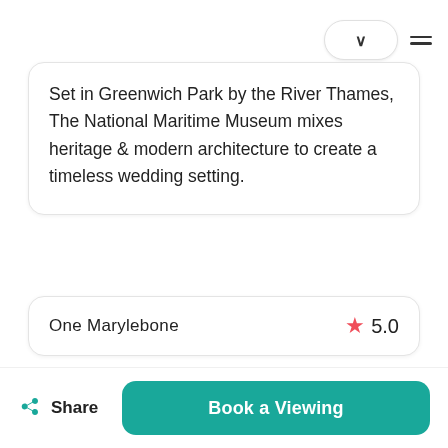Set in Greenwich Park by the River Thames, The National Maritime Museum mixes heritage & modern architecture to create a timeless wedding setting.
One Marylebone  ★ 5.0
Share
Book a Viewing